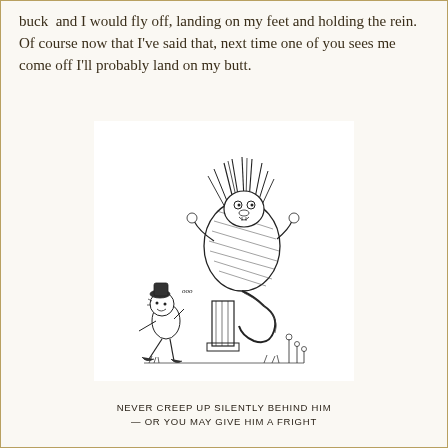buck  and I would fly off, landing on my feet and holding the rein. Of course now that I've said that, next time one of you sees me come off I'll probably land on my butt.
[Figure (illustration): Black and white pen-and-ink cartoon illustration showing a large frightened porcupine or hedgehog-like creature with wild spiky hair, standing upright on a post, looking alarmed. Below and to the left, a small boy in a hat is running away in fright. There are small flowers and grass in the background.]
NEVER CREEP UP SILENTLY BEHIND HIM
— OR YOU MAY GIVE HIM A FRIGHT